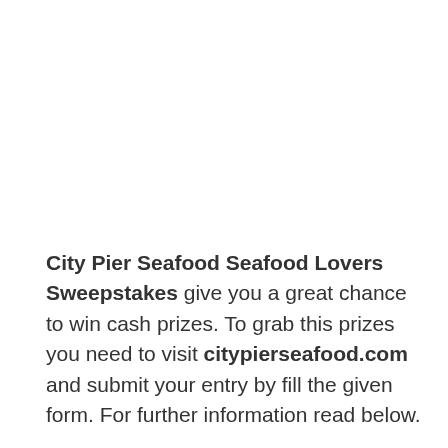City Pier Seafood Seafood Lovers Sweepstakes give you a great chance to win cash prizes. To grab this prizes you need to visit citypierseafood.com and submit your entry by fill the given form. For further information read below.